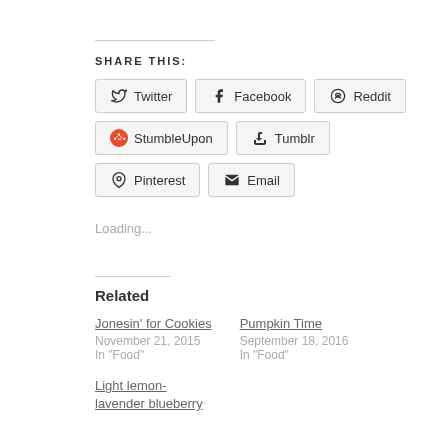SHARE THIS:
Twitter
Facebook
Reddit
StumbleUpon
Tumblr
Pinterest
Email
Loading...
Related
Jonesin' for Cookies
November 21, 2015
In "Food"
Pumpkin Time
September 18, 2016
In "Food"
Light lemon-lavender blueberry